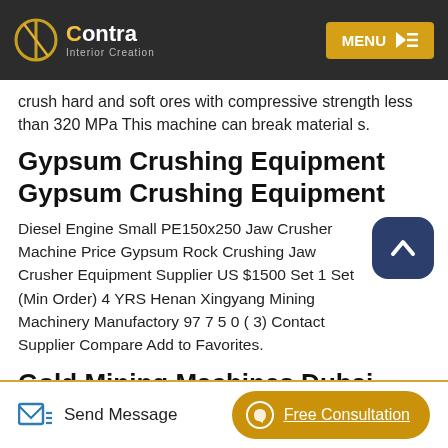Contra Interior Creation — MENU
crush hard and soft ores with compressive strength less than 320 MPa This machine can break material s.
Gypsum Crushing Equipment Gypsum Crushing Equipment
Diesel Engine Small PE150x250 Jaw Crusher Machine Price Gypsum Rock Crushing Jaw Crusher Equipment Supplier US $1500 Set 1 Set (Min Order) 4 YRS Henan Xingyang Mining Machinery Manufactory 97 7 5 0 ( 3) Contact Supplier Compare Add to Favorites.
Gold Mining Machines Dubai
Send Message | Free Consultation